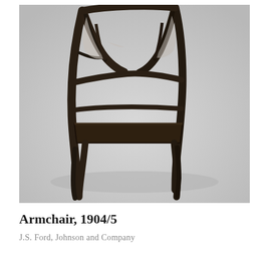[Figure (photo): Photograph of a dark wooden armchair from 1904/5, shown from a three-quarter front angle. The chair has curved, arched back supports with cutout arch details, a flat wooden seat, and slender tapering legs. The chair is dark brown/ebony stained wood photographed against a light grey gradient background.]
Armchair, 1904/5
J.S. Ford, Johnson and Company